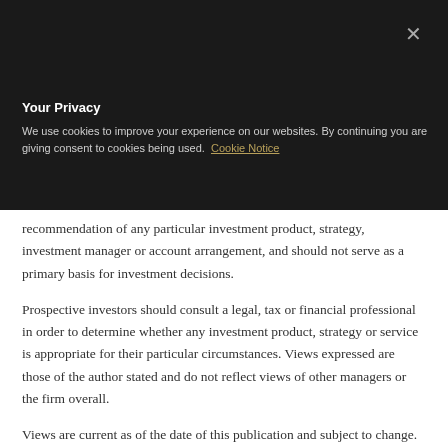[Figure (logo): BNY Mellon Investment Management logo with gold/grey arrow icon]
Your Privacy
We use cookies to improve your experience on our websites. By continuing you are giving consent to cookies being used.  Cookie Notice
recommendation of any particular investment product, strategy, investment manager or account arrangement, and should not serve as a primary basis for investment decisions.
Prospective investors should consult a legal, tax or financial professional in order to determine whether any investment product, strategy or service is appropriate for their particular circumstances. Views expressed are those of the author stated and do not reflect views of other managers or the firm overall.
Views are current as of the date of this publication and subject to change.